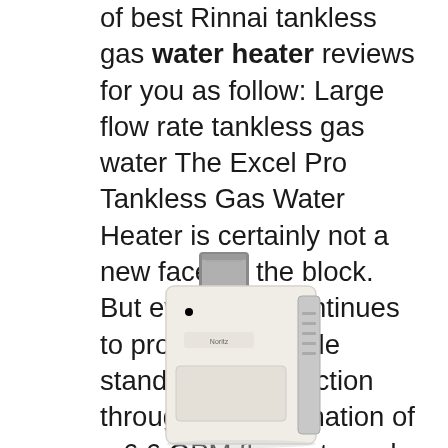of best Rinnai tankless gas water heater reviews for you as follow: Large flow rate tankless gas water The Excel Pro Tankless Gas Water Heater is certainly not a new face on the block. But even so, it continues to provide a reliable standard of production through its combination of a 6.6 GPM flow rate and a peak heating capacity 140,000 BTU. This model takes special advantage of its core capabilities through a specialized heat modulation process.
[Figure (photo): Photo of a tankless gas water heater unit (Excel Pro), white rectangular device with stainless steel vent pipe on top, shown at a slight angle]